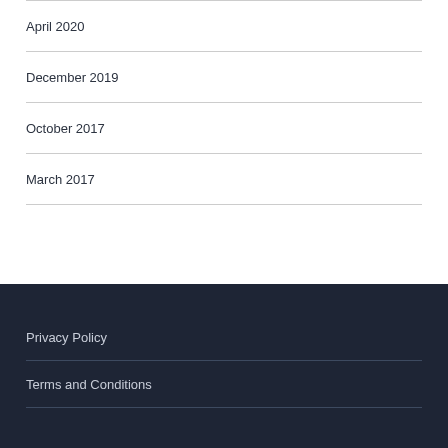April 2020
December 2019
October 2017
March 2017
Privacy Policy
Terms and Conditions